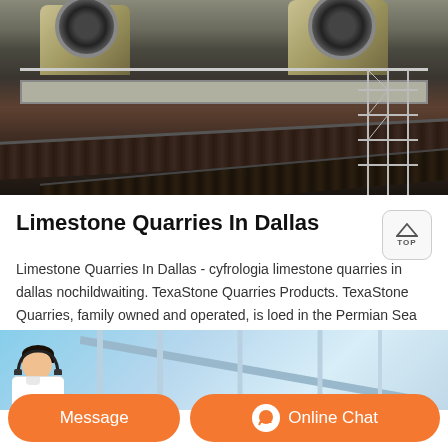[Figure (photo): Industrial limestone quarry machinery with large crushers/jaw crushers on an elevated platform with conveyor belts below]
Limestone Quarries In Dallas
Limestone Quarries In Dallas - cyfrologia limestone quarries in dallas nochildwaiting. TexaStone Quarries Products. TexaStone Quarries, family owned and operated, is loed in the Permian Sea Basin of West Texas. The quarries are loed within a 12 Chat
[Figure (photo): Customer service representative with headset in front of a modern building background, with orange Message and Online Chat buttons]
Message
Online Chat